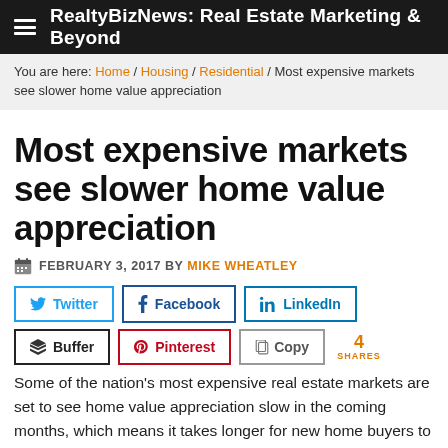RealtyBizNews: Real Estate Marketing & Beyond
You are here: Home / Housing / Residential / Most expensive markets see slower home value appreciation
Most expensive markets see slower home value appreciation
FEBRUARY 3, 2017 BY MIKE WHEATLEY
[Figure (infographic): Social share buttons: Twitter, Facebook, LinkedIn, Buffer, Pinterest, Copy, with 4 Shares count]
Some of the nation’s most expensive real estate markets are set to see home value appreciation slow in the coming months, which means it takes longer for new home buyers to break even on a home compared to renting it. Still, on a national scale,